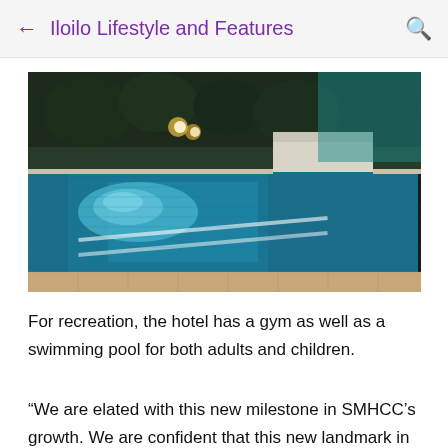Iloilo Lifestyle and Features
[Figure (photo): Illuminated outdoor swimming pool at night with mosaic tile pattern, surrounding stone deck, white planter box, and trees in background]
For recreation, the hotel has a gym as well as a swimming pool for both adults and children.
“We are elated with this new milestone in SMHCC’s growth. We are confident that this new landmark in